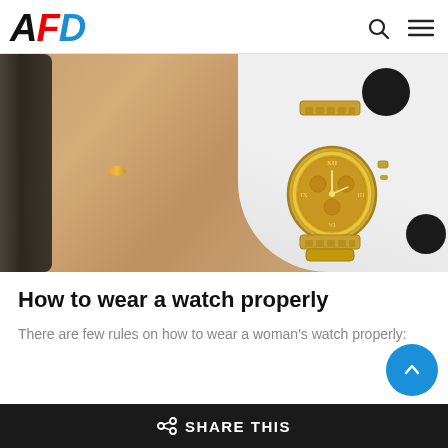AFD
[Figure (photo): Close-up photo of a woman's wrist wearing a gold chronograph watch with gold metal bracelet, against a white fabric with black polka dots. Her hand also has a gold ring.]
How to wear a watch properly
There are few rules on how to wear a woman's watch properly:
SHARE THIS